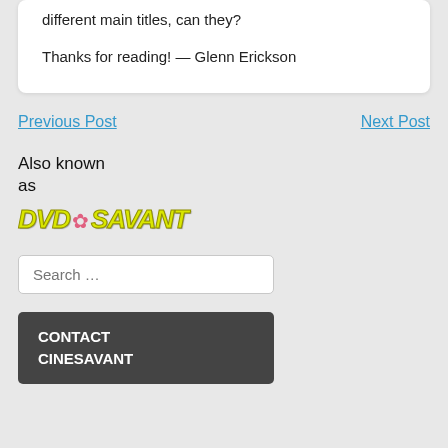different main titles, can they?
Thanks for reading! — Glenn Erickson
Previous Post
Next Post
Also known as
[Figure (logo): DVD Savant logo in yellow italic bold text with a flower/asterisk emblem between DVD and SAVANT]
Search …
CONTACT CINESAVANT